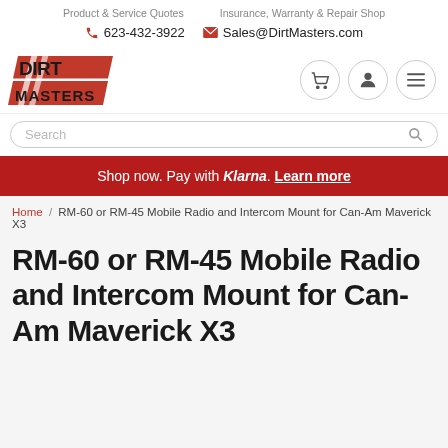Product & Service Quotes   Insurance, Warranty & Repair Shop
623-432-3922   Sales@DirtMasters.com
[Figure (logo): Dirt Masters logo — red and black stylized text with slash marks]
Search
Shop now. Pay with Klarna. Learn more
Home / RM-60 or RM-45 Mobile Radio and Intercom Mount for Can-Am Maverick X3
RM-60 or RM-45 Mobile Radio and Intercom Mount for Can-Am Maverick X3